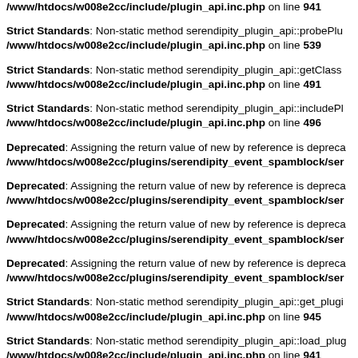/www/htdocs/w008e2cc/include/plugin_api.inc.php on line 941
Strict Standards: Non-static method serendipity_plugin_api::probePlu... /www/htdocs/w008e2cc/include/plugin_api.inc.php on line 539
Strict Standards: Non-static method serendipity_plugin_api::getClass... /www/htdocs/w008e2cc/include/plugin_api.inc.php on line 491
Strict Standards: Non-static method serendipity_plugin_api::includePl... /www/htdocs/w008e2cc/include/plugin_api.inc.php on line 496
Deprecated: Assigning the return value of new by reference is depreca... /www/htdocs/w008e2cc/plugins/serendipity_event_spamblock/ser...
Deprecated: Assigning the return value of new by reference is depreca... /www/htdocs/w008e2cc/plugins/serendipity_event_spamblock/ser...
Deprecated: Assigning the return value of new by reference is depreca... /www/htdocs/w008e2cc/plugins/serendipity_event_spamblock/ser...
Deprecated: Assigning the return value of new by reference is depreca... /www/htdocs/w008e2cc/plugins/serendipity_event_spamblock/ser...
Strict Standards: Non-static method serendipity_plugin_api::get_plugi... /www/htdocs/w008e2cc/include/plugin_api.inc.php on line 945
Strict Standards: Non-static method serendipity_plugin_api::load_plug... /www/htdocs/w008e2cc/include/plugin_api.inc.php on line 941